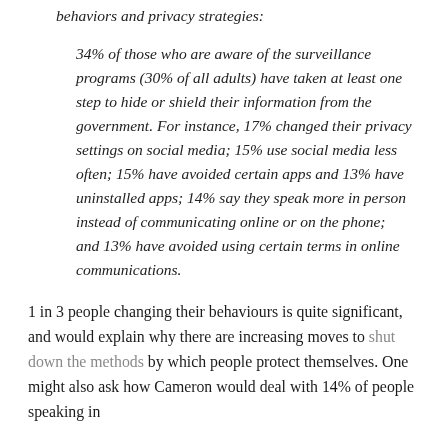behaviors and privacy strategies:
34% of those who are aware of the surveillance programs (30% of all adults) have taken at least one step to hide or shield their information from the government. For instance, 17% changed their privacy settings on social media; 15% use social media less often; 15% have avoided certain apps and 13% have uninstalled apps; 14% say they speak more in person instead of communicating online or on the phone; and 13% have avoided using certain terms in online communications.
1 in 3 people changing their behaviours is quite significant, and would explain why there are increasing moves to shut down the methods by which people protect themselves. One might also ask how Cameron would deal with 14% of people speaking in